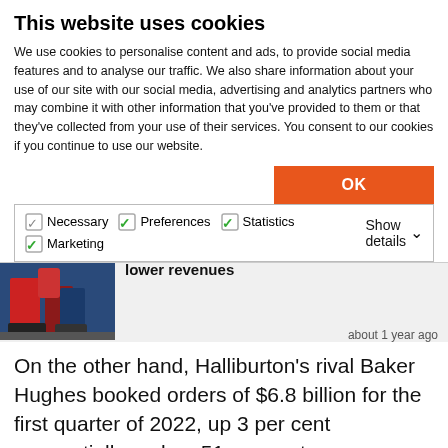This website uses cookies
We use cookies to personalise content and ads, to provide social media features and to analyse our traffic. We also share information about your use of our site with our social media, advertising and analytics partners who may combine it with other information that you've provided to them or that they've collected from your use of their services. You consent to our cookies if you continue to use our website.
OK
Necessary  Preferences  Statistics  Marketing  Show details
lower revenues
about 1 year ago
On the other hand, Halliburton's rival Baker Hughes booked orders of $6.8 billion for the first quarter of 2022, up 3 per cent sequentially and up 51 per cent year-over-year. According to the U.S. player, the sequential increase was a result of higher activity in Oilfield Equipment...